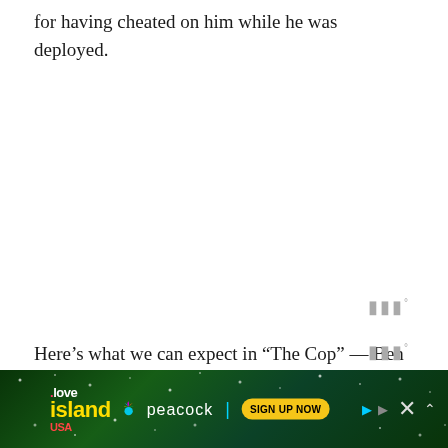for having cheated on him while he was deployed.
[Figure (logo): Small gray audio/streaming icon with three vertical bars and a degree symbol]
Here’s what we can expect in “The Cop” — Ben visits a prison inmate who provides information that might prove Detective Cornell is pushing the boundaries of the law
[Figure (screenshot): Love Island USA advertisement banner on Peacock streaming service with Sign Up Now button, dark green tropical background with stars]